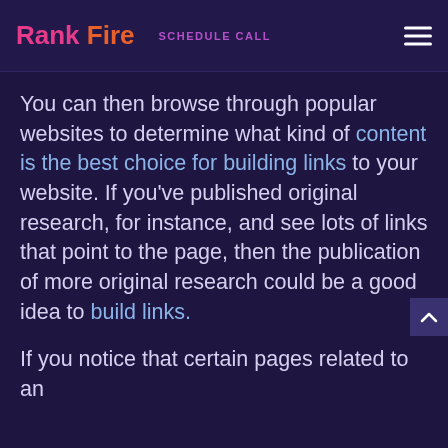Rank Fire | SCHEDULE CALL
You can then browse through popular websites to determine what kind of content is the best choice for building links to your website. If you've published original research, for instance, and see lots of links that point to the page, then the publication of more original research could be a good idea to build links.
If you notice that certain pages related to an